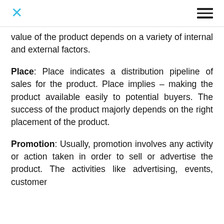value of the product depends on a variety of internal and external factors.
Place: Place indicates a distribution pipeline of sales for the product. Place implies – making the product available easily to potential buyers. The success of the product majorly depends on the right placement of the product.
Promotion: Usually, promotion involves any activity or action taken in order to sell or advertise the product. The activities like advertising, events, customer